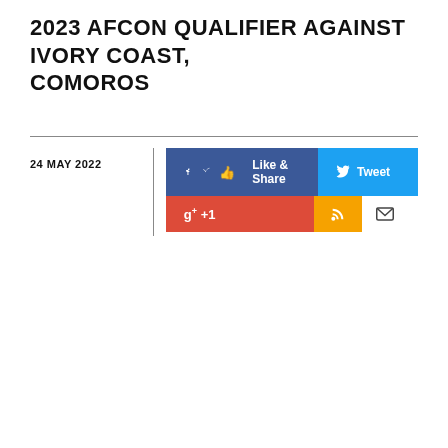2023 AFCON QUALIFIER AGAINST IVORY COAST, COMOROS
24 MAY 2022